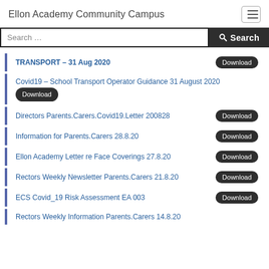Ellon Academy Community Campus
TRANSPORT – 31 Aug 2020 Download
Covid19 – School Transport Operator Guidance 31 August 2020 Download
Directors Parents.Carers.Covid19.Letter 200828 Download
Information for Parents.Carers 28.8.20 Download
Ellon Academy Letter re Face Coverings 27.8.20 Download
Rectors Weekly Newsletter Parents.Carers 21.8.20 Download
ECS Covid_19 Risk Assessment EA 003 Download
Rectors Weekly Information Parents.Carers 14.8.20